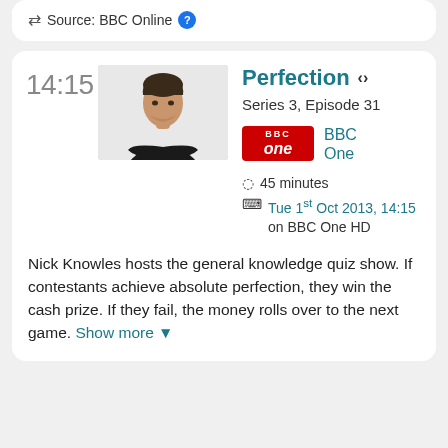Source: BBC Online
14:15
[Figure (photo): Photo of a man in a black t-shirt with arms crossed against a white background]
Perfection
Series 3, Episode 31
[Figure (logo): BBC One red logo]
BBC One
45 minutes
Tue 1st Oct 2013, 14:15 on BBC One HD
Nick Knowles hosts the general knowledge quiz show. If contestants achieve absolute perfection, they win the cash prize. If they fail, the money rolls over to the next game. Show more